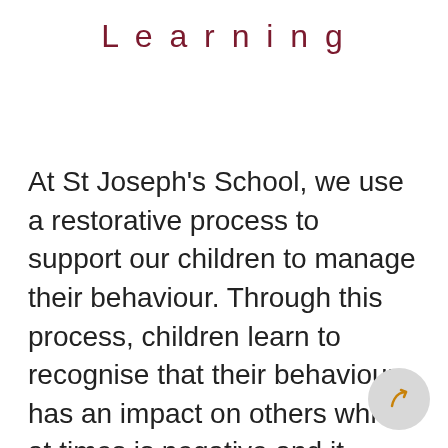Learning
At St Joseph's School, we use a restorative process to support our children to manage their behaviour. Through this process, children learn to recognise that their behaviour has an impact on others which at times is negative and it provides the opportunity to restore the relationships that may